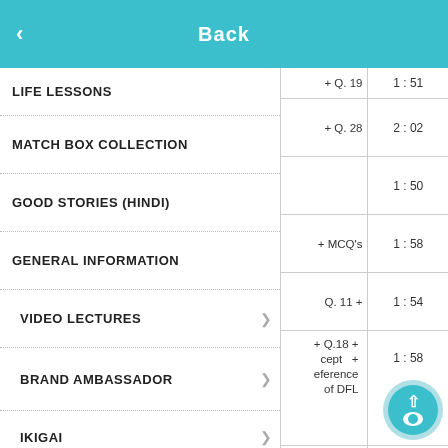Back
LIFE LESSONS
MATCH BOX COLLECTION
GOOD STORIES (HINDI)
GENERAL INFORMATION
VIDEO LECTURES
BRAND AMBASSADOR
IKIGAI
FAQ
| Q | Time |
| --- | --- |
| + Q. 19 | 1 : 51 |
| + Q. 28 | 2 : 02 |
|  | 1 : 50 |
| + MCQ's | 1 : 58 |
| Q. 11 + | 1 : 54 |
| + Q.18 + cept + eference of DFL | 1 : 58 |
| eference Q. 19 + | 1 : 39 |